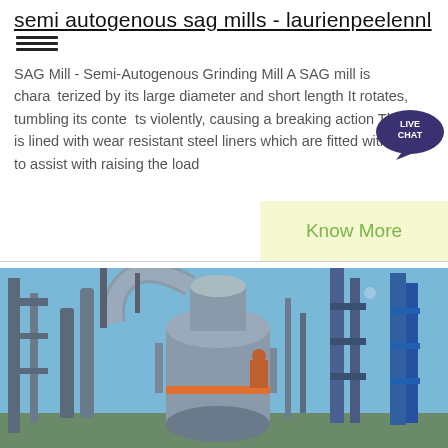semi autogenous sag mills - laurienpeelennl
SAG Mill - Semi-Autogenous Grinding Mill A SAG mill is characterized by its large diameter and short length It rotates, tumbling its contents violently, causing a breaking action The mill is lined with wear resistant steel liners which are fitted with lifters to assist with raising the load
[Figure (photo): Industrial SAG mill facility with large cylindrical grinding mill, pipes, scaffolding and blue sky background]